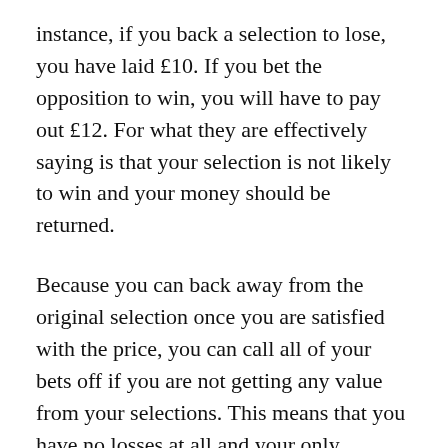instance, if you back a selection to lose, you have laid £10. If you bet the opposition to win, you will have to pay out £12. For what they are effectively saying is that your selection is not likely to win and your money should be returned.
Because you can back away from the original selection once you are satisfied with the price, you can call all of your bets off if you are not getting any value from your selections. This means that you have no losses at all and your only possible liability is your call option, which normally works in the punters favour.
The great thing about live betting exchanges is